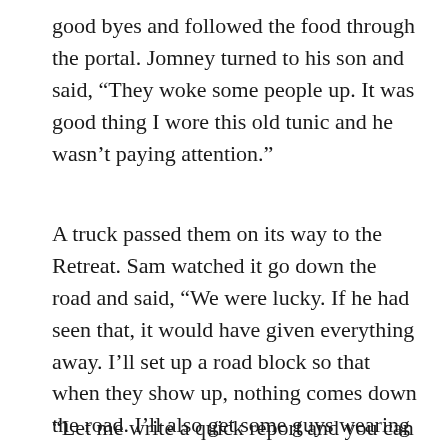good byes and followed the food through the portal. Jomney turned to his son and said, “They woke some people up. It was good thing I wore this old tunic and he wasn’t paying attention.”
A truck passed them on its way to the Retreat. Sam watched it go down the road and said, “We were lucky. If he had seen that, it would have given everything away. I’ll set up a road block so that when they show up, nothing comes down the road. I’ll also get some guys wearing slave tunics around and put more horses in the corrals.”
“Let me write a quick report and you can take